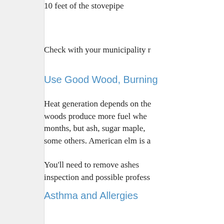10 feet of the stovepipe
Check with your municipality r
Use Good Wood, Burning
Heat generation depends on the woods produce more fuel whe months, but ash, sugar maple, some others. American elm is a
You'll need to remove ashes inspection and possible profess
Asthma and Allergies
If anyone in your household whether a wood stove is th trigger breathing problems, t mitigate these health issues.